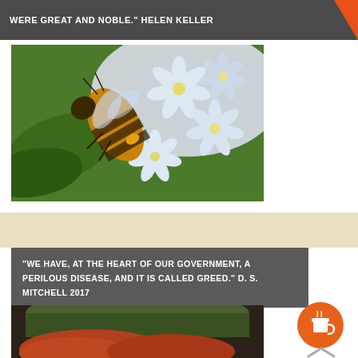WERE GREAT AND NOBLE." HELEN KELLER
[Figure (photo): Close-up photo of a honey bee on white star-shaped flowers with a green background]
[Figure (photo): Partial photo of a person wearing a green hat with red/auburn hair visible]
"WE HAVE, AT THE HEART OF OUR GOVERNMENT, A PERILOUS DISEASE, AND IT IS CALLED GREED." D. S. MITCHELL 2017
[Figure (illustration): Orange circular coffee cup button/icon]